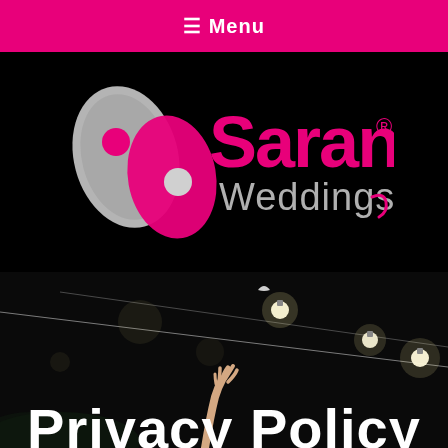☰ Menu
[Figure (logo): Sarani Weddings logo on black background: two overlapping pill/oval shapes in grey and pink with pink dots, followed by the text 'Sarani' in pink and 'Weddings' in grey with a registered trademark symbol]
[Figure (photo): Nighttime outdoor photo with string lights hanging diagonally, a hand reaching up toward the lights, dark background with bokeh light effects. White bold text 'Privacy Policy' partially visible at the bottom.]
Privacy Policy